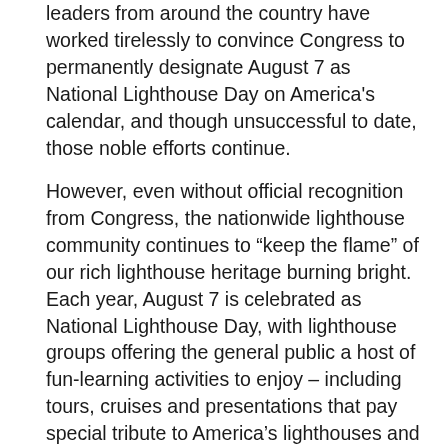leaders from around the country have worked tirelessly to convince Congress to permanently designate August 7 as National Lighthouse Day on America's calendar, and though unsuccessful to date, those noble efforts continue.
However, even without official recognition from Congress, the nationwide lighthouse community continues to “keep the flame” of our rich lighthouse heritage burning bright. Each year, August 7 is celebrated as National Lighthouse Day, with lighthouse groups offering the general public a host of fun-learning activities to enjoy – including tours, cruises and presentations that pay special tribute to America’s lighthouses and their grand history.